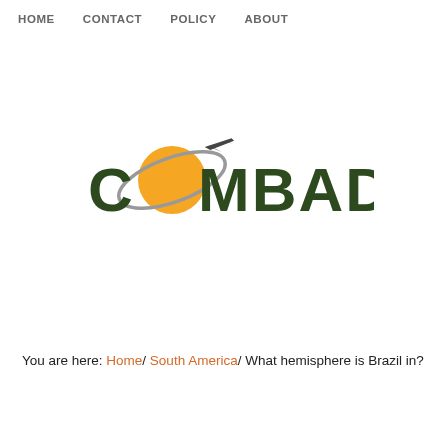HOME   CONTACT   POLICY   ABOUT
[Figure (logo): COMBADI logo with yellow circle, gray orbital ring, airplane silhouette, and dark green bold text spelling COMBADI]
You are here: Home/ South America/ What hemisphere is Brazil in?